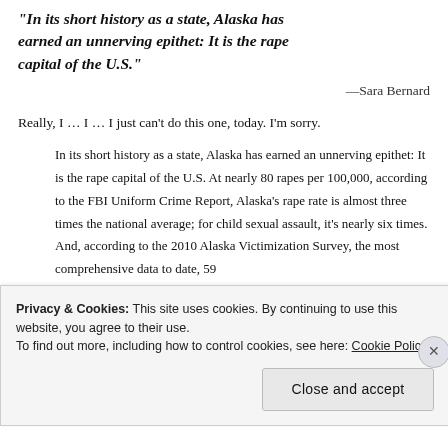"In its short history as a state, Alaska has earned an unnerving epithet: It is the rape capital of the U.S."
—Sara Bernard
Really, I … I … I just can't do this one, today. I'm sorry.
In its short history as a state, Alaska has earned an unnerving epithet: It is the rape capital of the U.S. At nearly 80 rapes per 100,000, according to the FBI Uniform Crime Report, Alaska's rape rate is almost three times the national average; for child sexual assault, it's nearly six times. And, according to the 2010 Alaska Victimization Survey, the most comprehensive data to date, 59
Privacy & Cookies: This site uses cookies. By continuing to use this website, you agree to their use.
To find out more, including how to control cookies, see here: Cookie Policy
Close and accept